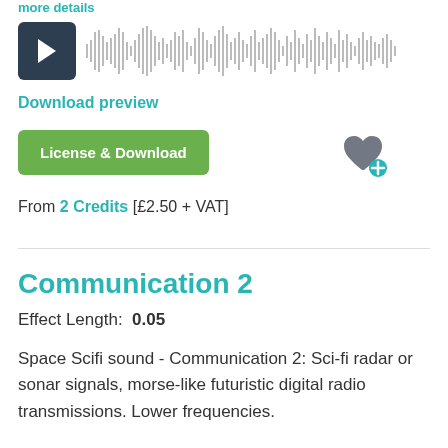more details
[Figure (other): Audio player with dark play button and waveform visualization]
Download preview
License & Download
From 2 Credits [£2.50 + VAT]
Communication 2
Effect Length:  0.05
Space Scifi sound - Communication 2: Sci-fi radar or sonar signals, morse-like futuristic digital radio transmissions. Lower frequencies.